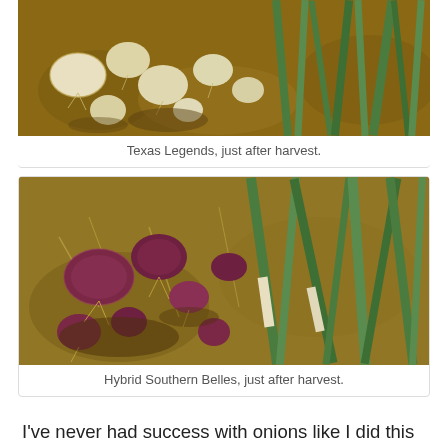[Figure (photo): Harvested white/yellow onions with green stems laid on soil ground, Texas Legends variety just after harvest]
Texas Legends, just after harvest.
[Figure (photo): Harvested red/purple onions with green stems laid on soil ground, Hybrid Southern Belles variety just after harvest]
Hybrid Southern Belles, just after harvest.
I've never had success with onions like I did this year. After seeing my parents' gorgeous onions the last couple years, I ordered seedlings from their source, Dixondale Farms, then